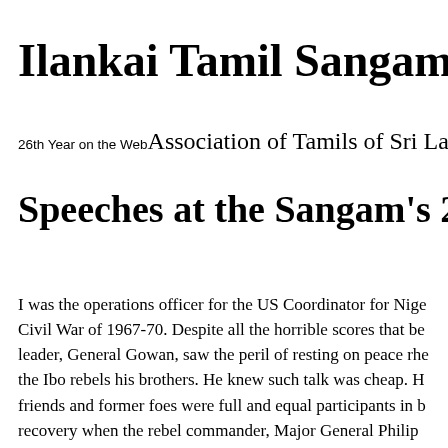Ilankai Tamil Sangam
26th Year on the Web Association of Tamils of Sri La...
Speeches at the Sangam's 20...
I was the operations officer for the US Coordinator for Nige... Civil War of 1967-70. Despite all the horrible scores that be... leader, General Gowan, saw the peril of resting on peace rhe... the Ibo rebels his brothers. He knew such talk was cheap. H... friends and former foes were full and equal participants in b... recovery when the rebel commander, Major General Philip ... Biafran surrender. Effiong had been a lieutenant colonel col... Snapping to attention, Effiong saluted, and announced, "Lef... never even returned his salute. He simply opened wide his a... enormous embrace. That act, and that photo in all of Nigeria... the stage for what has been a sustained reconciliation and re...